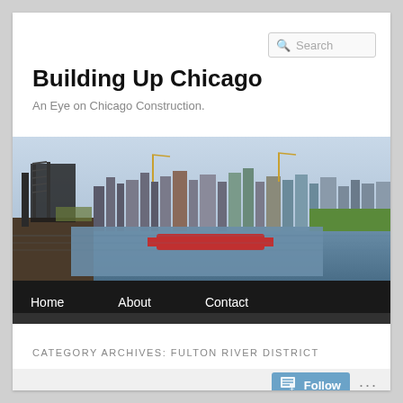Search
Building Up Chicago
An Eye on Chicago Construction.
[Figure (photo): Panoramic view of Chicago skyline from across the river, featuring skyscrapers under construction, a rail bridge on the left, a red barge on the river, and green parkland on the right.]
Home   About   Contact
CATEGORY ARCHIVES: FULTON RIVER DISTRICT
Follow ...